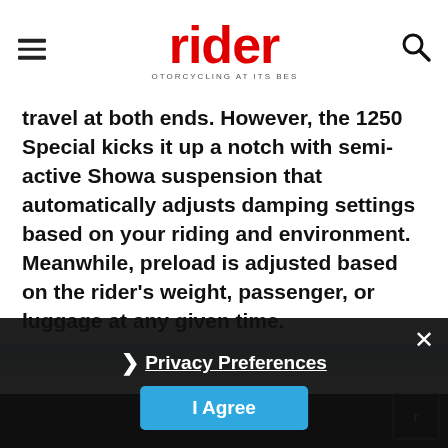rider — MOTORCYCLING AT ITS BEST
travel at both ends. However, the 1250 Special kicks it up a notch with semi-active Showa suspension that automatically adjusts damping settings based on your riding and environment. Meanwhile, preload is adjusted based on the rider's weight, passenger, or luggage at any given time.
[Figure (photo): Photo of motorcycle rider, partially obscured by dark cookie consent overlay. Sky visible at top of image.]
Privacy Preferences
I Agree